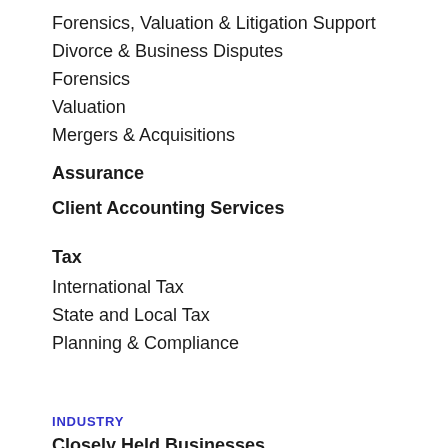Forensics, Valuation & Litigation Support
Divorce & Business Disputes
Forensics
Valuation
Mergers & Acquisitions
Assurance
Client Accounting Services
Tax
International Tax
State and Local Tax
Planning & Compliance
INDUSTRY
Closely Held Businesses
Farm & Ranch
Oil, Gas & Energy